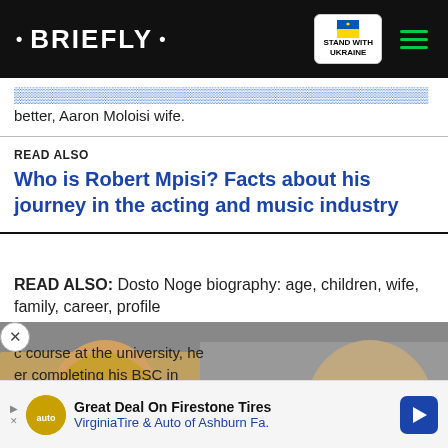• BRIEFLY •  STAND WITH UKRAINE
better, Aaron Moloisi wife.
READ ALSO
Who is Robert Mpisi? Facts about his journey in the acting and music industry
READ ALSO: Dosto Noge biography: age, children, wife, family, career, profile
[Figure (screenshot): Video advertisement thumbnail showing two people (a woman with blonde hair and a man with glasses) with an orange circle overlay containing text 'IS HE THE ONLY ONE TO BLAME?' and a play button icon. A red chevron-down button is visible at the bottom right.]
c course at the university, he er completing his BSC in
Great Deal On Firestone Tires VirginiaTire & Auto of Ashburn Fa.